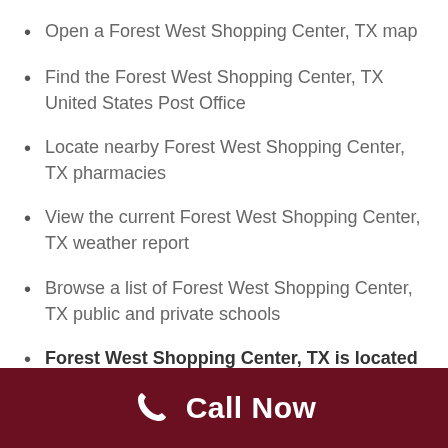Open a Forest West Shopping Center, TX map
Find the Forest West Shopping Center, TX United States Post Office
Locate nearby Forest West Shopping Center, TX pharmacies
View the current Forest West Shopping Center, TX weather report
Browse a list of Forest West Shopping Center, TX public and private schools
Forest West Shopping Center, TX is located in Harris county in Texas State
Call Now